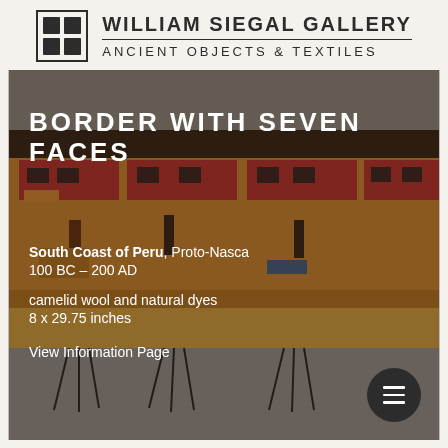WILLIAM SIEGAL GALLERY ANCIENT OBJECTS & TEXTILES
[Figure (photo): Photograph of an ancient Peruvian textile border with seven stylized faces, featuring geometric patterns in red, yellow, orange, and dark brown colors with dark hanging tassels. The textile is displayed on a gray surface.]
BORDER WITH SEVEN FACES
South Coast of Peru, Proto-Nasca
100 BC – 200 AD
camelid wool and natural dyes
8 x 29.75 inches
View Information Page